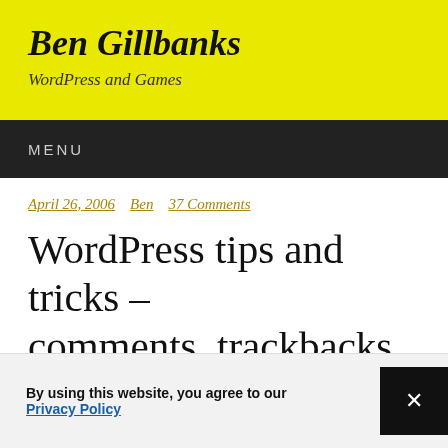Ben Gillbanks
WordPress and Games
MENU
April 26, 2006  Ben  37 Comments
WordPress tips and tricks – comments, trackbacks, and query_post
By using this website, you agree to our Privacy Policy